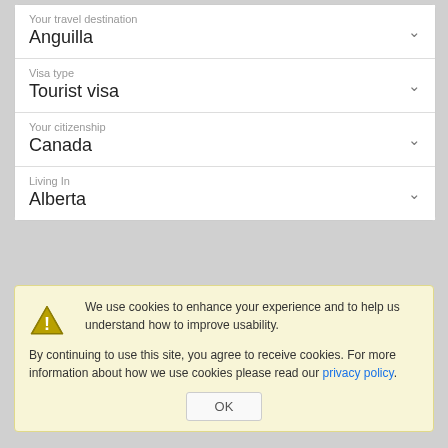Your travel destination: Anguilla
Visa type: Tourist visa
Your citizenship: Canada
Living In: Alberta
We use cookies to enhance your experience and to help us understand how to improve usability. By continuing to use this site, you agree to receive cookies. For more information about how we use cookies please read our privacy policy.